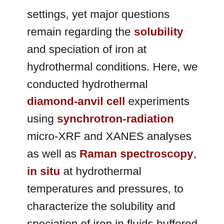settings, yet major questions remain regarding the solubility and speciation of iron at hydrothermal conditions. Here, we conducted hydrothermal diamond-anvil cell experiments using synchrotron-radiation micro-XRF and XANES analyses as well as Raman spectroscopy, in situ at hydrothermal temperatures and pressures, to characterize the solubility and speciation of iron in fluids buffered by a variety of mineral assemblages. Our experiments included the assemblages hematite-magnetite (HM), fayalite-magnetite-quartz (FMQ), and magnetite-pyrite-pyrrhotite (MPP). Our results indicate highest solubilities